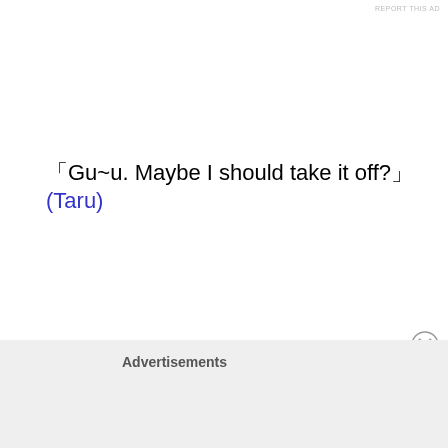REPORT THIS AD
「Gu~u. Maybe I should take it off?」(Taru)
I think this equipment is definitely the finest equipment I have.
Especially the magic defense status is abnormal.

However…
Too much embarrassed.
Advertisements